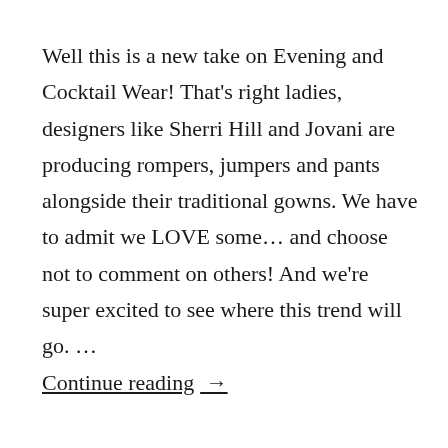Well this is a new take on Evening and Cocktail Wear! That's right ladies, designers like Sherri Hill and Jovani are producing rompers, jumpers and pants alongside their traditional gowns. We have to admit we LOVE some… and choose not to comment on others! And we're super excited to see where this trend will go. …
Continue reading →